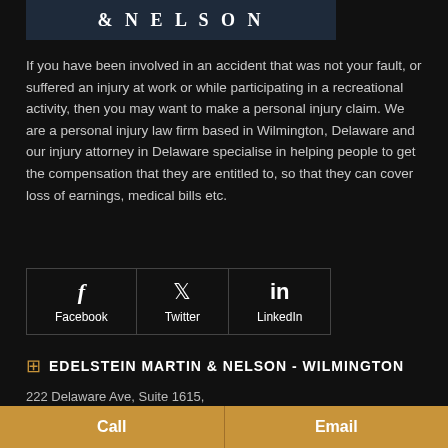[Figure (logo): Edelstein Martin & Nelson law firm logo banner with dark navy background and white serif text '& NELSON']
If you have been involved in an accident that was not your fault, or suffered an injury at work or while participating in a recreational activity, then you may want to make a personal injury claim. We are a personal injury law firm based in Wilmington, Delaware and our injury attorney in Delaware specialise in helping people to get the compensation that they are entitled to, so that they can cover loss of earnings, medical bills etc.
[Figure (infographic): Social media links bar with Facebook, Twitter, and LinkedIn icons and labels]
EDELSTEIN MARTIN & NELSON - WILMINGTON
222 Delaware Ave, Suite 1615,
Wilmington, DE 19801
Call | Email